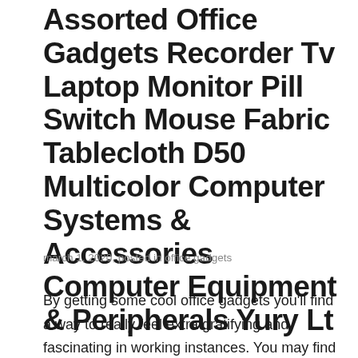Assorted Office Gadgets Recorder Tv Laptop Monitor Pill Switch Mouse Fabric Tablecloth D50 Multicolor Computer Systems & Accessories Computer Equipment & Peripherals Yury Lt
march 1, 2020, posted in office gadgets
By getting some cool office gadgets you'll find a way to really feel extra gratifying and fascinating in working instances. You may find lots of unfastened paperclips, post-its, pens, and highlighters round your work desk. Hide that clutter away within the Flat Panel Monitor Riser Stand Space Saving Workstation. These cool office